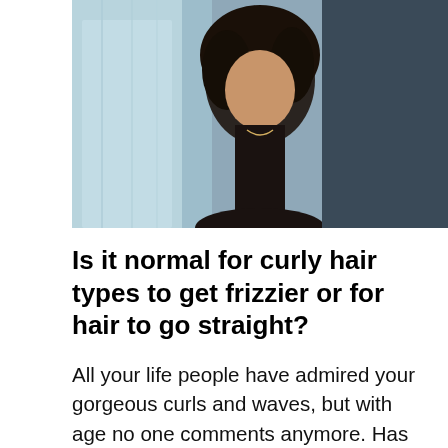[Figure (photo): Photograph of a woman with curly dark hair wearing a black top, partially visible, with another person visible on the right side. Background shows light blue/teal fabric.]
Is it normal for curly hair types to get frizzier or for hair to go straight?
All your life people have admired your gorgeous curls and waves, but with age no one comments anymore. Has this happened to you? As we mature hair changes, there is no doubt about that. Hair becomes thinner, dull and can even become very brittle if not